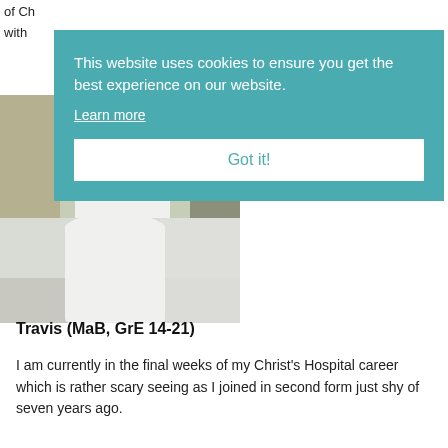of Ch
with
[Figure (photo): Person in white shirt standing outdoors, partially visible, with greenery/curtains in background. Lower portion shows person from behind in white shirt.]
[Figure (infographic): Cookie consent overlay banner with teal background. Text reads: 'This website uses cookies to ensure you get the best experience on our website. Learn more' with a white 'Got it!' button.]
Travis (MaB, GrE 14-21)
I am currently in the final weeks of my Christ’s Hospital career which is rather scary seeing as I joined in second form just shy of seven years ago.